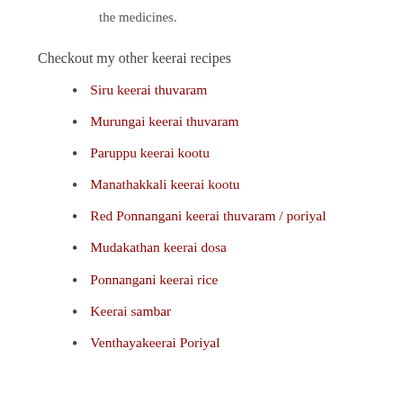the medicines.
Checkout my other keerai recipes
Siru keerai thuvaram
Murungai keerai thuvaram
Paruppu keerai kootu
Manathakkali keerai kootu
Red Ponnangani keerai thuvaram / poriyal
Mudakathan keerai dosa
Ponnangani keerai rice
Keerai sambar
Venthayakeerai Poriyal